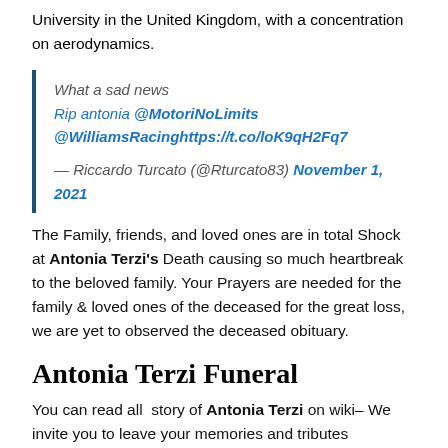University in the United Kingdom, with a concentration on aerodynamics.
What a sad news
Rip antonia @MotoriNoLimits @WilliamsRacinghttps://t.co/loK9qH2Fq7
— Riccardo Turcato (@Rturcato83) November 1, 2021
The Family, friends, and loved ones are in total Shock at Antonia Terzi's Death causing so much heartbreak to the beloved family. Your Prayers are needed for the family & loved ones of the deceased for the great loss, we are yet to observed the deceased obituary.
Antonia Terzi Funeral
You can read all  story of Antonia Terzi on wiki– We invite you to leave your memories and tributes